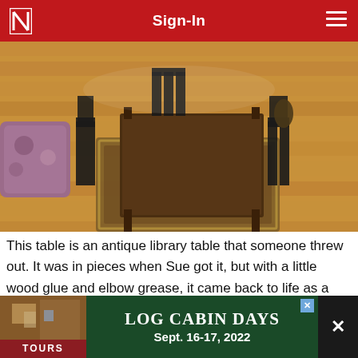Sign-In
[Figure (photo): Overhead view of a wooden dining table with chairs on a hardwood floor with a decorative rug, and a floral armchair in the corner.]
This table is an antique library table that someone threw out. It was in pieces when Sue got it, but with a little wood glue and elbow grease, it came back to life as a dining table. Wilderness Lodge
[Figure (other): Advertisement banner: LOG CABIN DAYS Tours Sept. 16-17, 2022 with a log cabin interior image on the left and dark green background.]